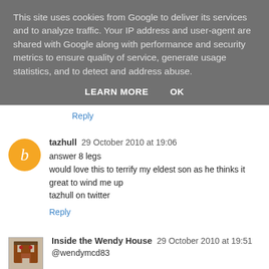This site uses cookies from Google to deliver its services and to analyze traffic. Your IP address and user-agent are shared with Google along with performance and security metrics to ensure quality of service, generate usage statistics, and to detect and address abuse.
LEARN MORE   OK
Reply
tazhull 29 October 2010 at 19:06
answer 8 legs
would love this to terrify my eldest son as he thinks it great to wind me up
tazhull on twitter
Reply
Inside the Wendy House 29 October 2010 at 19:51
@wendymcd83